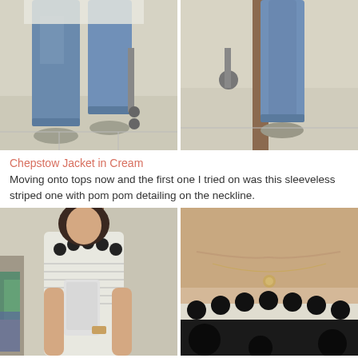[Figure (photo): Two side-by-side photos showing lower body in blue jeans and grey slip-on shoes in a fitting room, taken from above waist down]
Chepstow Jacket in Cream
Moving onto tops now and the first one I tried on was this sleeveless striped one with pom pom detailing on the neckline.
[Figure (photo): Two side-by-side photos: left shows woman in white sleeveless top with black pom pom neckline taking a mirror selfie; right shows close-up of neckline with pom pom trim and a delicate necklace]